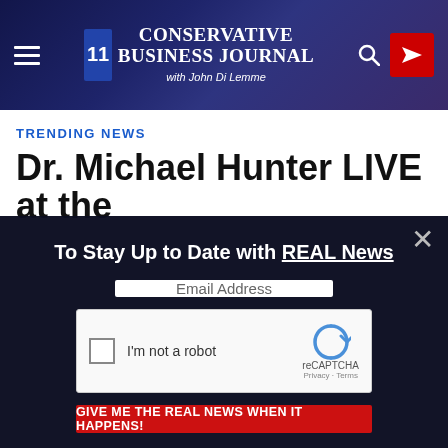CONSERVATIVE BUSINESS JOURNAL with John Di Lemme
TRENDING NEWS
Dr. Michael Hunter LIVE at the
To Stay Up to Date with REAL News
Email Address
I'm not a robot
reCAPTCHA Privacy · Terms
GIVE ME THE REAL NEWS WHEN IT HAPPENS!